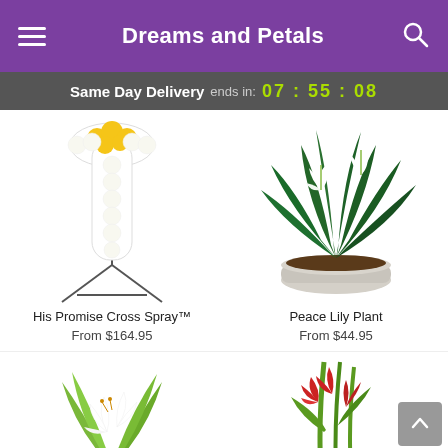Dreams and Petals
Same Day Delivery ends in: 07 : 55 : 08
[Figure (photo): White cross floral spray arrangement with yellow roses on a metal stand]
His Promise Cross Spray™
From $164.95
[Figure (photo): Peace lily plant in a white woven basket]
Peace Lily Plant
From $44.95
[Figure (photo): White lily bouquet arrangement, partially visible at bottom]
[Figure (photo): Red gladiolus floral arrangement, partially visible at bottom]